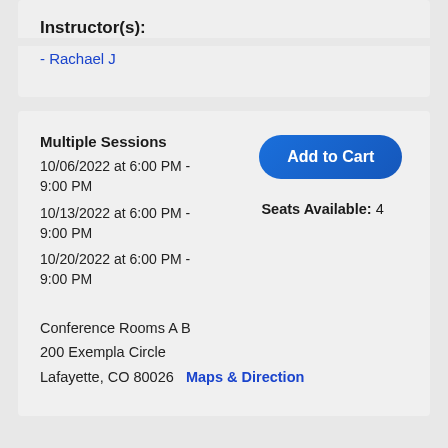Instructor(s):
- Rachael J
Multiple Sessions
10/06/2022 at 6:00 PM - 9:00 PM
10/13/2022 at 6:00 PM - 9:00 PM
10/20/2022 at 6:00 PM - 9:00 PM
Add to Cart
Seats Available: 4
Conference Rooms A B
200 Exempla Circle
Lafayette, CO 80026   Maps & Direction